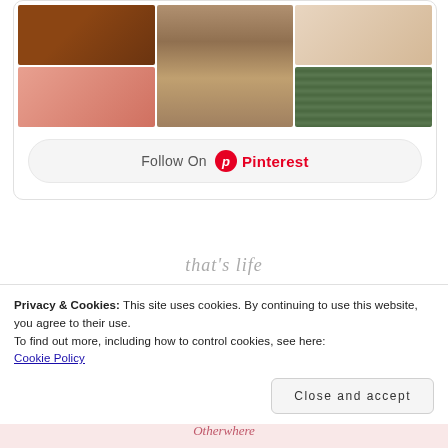[Figure (other): Pinterest widget showing a grid of lifestyle/home decor photos with a 'Follow On Pinterest' button at the bottom]
that's life
Privacy & Cookies: This site uses cookies. By continuing to use this website, you agree to their use.
To find out more, including how to control cookies, see here:
Cookie Policy
Close and accept